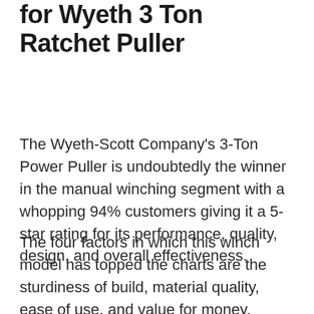for Wyeth 3 Ton Ratchet Puller
The Wyeth-Scott Company's 3-Ton Power Puller is undoubtedly the winner in the manual winching segment with a whopping 94% customers giving it a 5-star rating for its performance, quality, design, and overall effectiveness.
The four factors in which this winch model has topped the charts are the sturdiness of build, material quality, ease of use, and value for money.